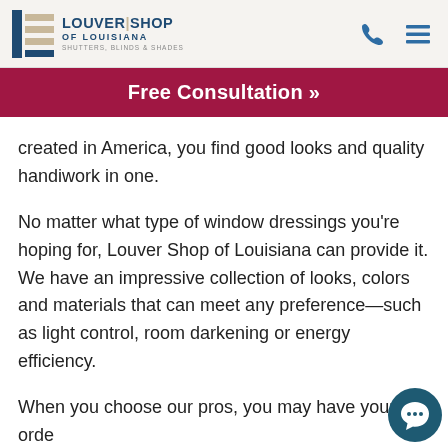LOUVER|SHOP OF LOUISIANA SHUTTERS, BLINDS & SHADES
Free Consultation »
created in America, you find good looks and quality handiwork in one.
No matter what type of window dressings you're hoping for, Louver Shop of Louisiana can provide it. We have an impressive collection of looks, colors and materials that can meet any preference—such as light control, room darkening or energy efficiency.
When you choose our pros, you may have your order in only four weeks. We can install that quickly because our shutters, blinds and shades are manufactured in